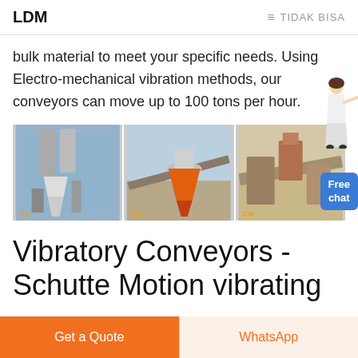LDM   ≡ TIDAK BISA
bulk material to meet your specific needs. Using Electro-mechanical vibration methods, our conveyors can move up to 100 tons per hour.
[Figure (photo): Three photos of industrial machinery/conveyors side by side, with a floating illustration of a female customer service representative and a blue 'Free chat' button overlay on the right.]
Vibratory Conveyors - Schutte Motion vibrating
Get a Quote
WhatsApp